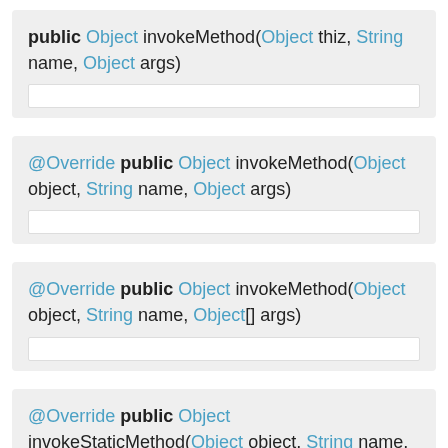public Object invokeMethod(Object thiz, String name, Object args)
@Override public Object invokeMethod(Object object, String name, Object args)
@Override public Object invokeMethod(Object object, String name, Object[] args)
@Override public Object invokeStaticMethod(Object object, String name, Object[] args)